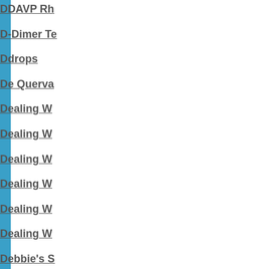DDAVP Rh
D-Dimer Te
Ddrops
De Querva
Dealing W
Dealing W
Dealing W
Dealing W
Dealing W
Dealing W
Debbie's S
Debrideme
Debrox
Decadron
Decadron
Decara
Dec...